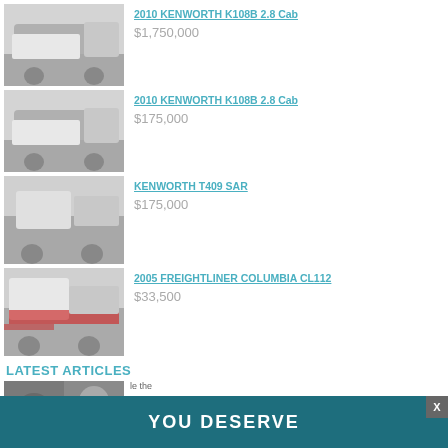[Figure (photo): White Kenworth K108B 2.8 Cab truck photo]
2010 KENWORTH K108B 2.8 Cab
$1,750,000
[Figure (photo): White Kenworth K108B 2.8 Cab truck photo]
2010 KENWORTH K108B 2.8 Cab
$175,000
[Figure (photo): White Kenworth T409 SAR truck photo]
KENWORTH T409 SAR
$175,000
[Figure (photo): White and red Freightliner Columbia CL112 truck photo]
2005 FREIGHTLINER COLUMBIA CL112
$33,500
LATEST ARTICLES
[Figure (photo): Article thumbnail photo]
[Figure (screenshot): YOU DESERVE overlay banner with X close button]